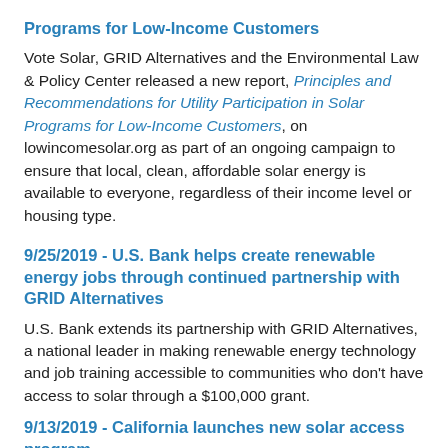Programs for Low-Income Customers
Vote Solar, GRID Alternatives and the Environmental Law & Policy Center released a new report, Principles and Recommendations for Utility Participation in Solar Programs for Low-Income Customers, on lowincomesolar.org as part of an ongoing campaign to ensure that local, clean, affordable solar energy is available to everyone, regardless of their income level or housing type.
9/25/2019 - U.S. Bank helps create renewable energy jobs through continued partnership with GRID Alternatives
U.S. Bank extends its partnership with GRID Alternatives, a national leader in making renewable energy technology and job training accessible to communities who don't have access to solar through a $100,000 grant.
9/13/2019 - California launches new solar access program
The California Public Utilities Commission (CPUC) voted